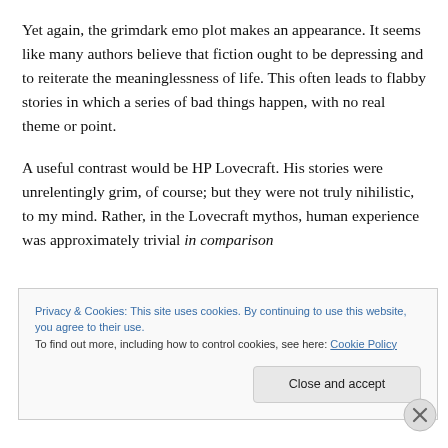Yet again, the grimdark emo plot makes an appearance. It seems like many authors believe that fiction ought to be depressing and to reiterate the meaninglessness of life. This often leads to flabby stories in which a series of bad things happen, with no real theme or point.
A useful contrast would be HP Lovecraft. His stories were unrelentingly grim, of course; but they were not truly nihilistic, to my mind. Rather, in the Lovecraft mythos, human experience was approximately trivial in comparison
Privacy & Cookies: This site uses cookies. By continuing to use this website, you agree to their use.
To find out more, including how to control cookies, see here: Cookie Policy